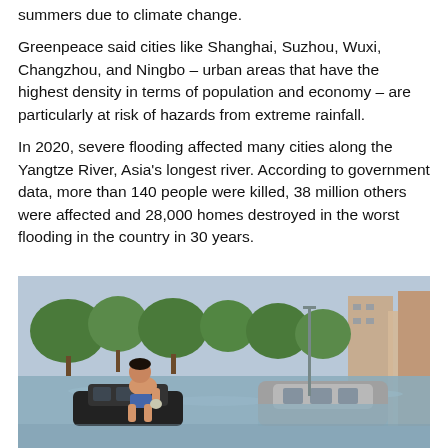summers due to climate change.
Greenpeace said cities like Shanghai, Suzhou, Wuxi, Changzhou, and Ningbo – urban areas that have the highest density in terms of population and economy – are particularly at risk of hazards from extreme rainfall.
In 2020, severe flooding affected many cities along the Yangtze River, Asia's longest river. According to government data, more than 140 people were killed, 38 million others were affected and 28,000 homes destroyed in the worst flooding in the country in 30 years.
[Figure (photo): A shirtless man sits on top of a partially submerged car on a flooded urban street. Another vehicle is almost completely submerged nearby. Trees and buildings are visible in the background.]